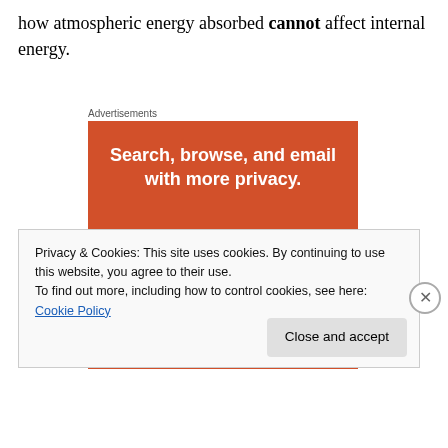how atmospheric energy absorbed cannot affect internal energy.
Advertisements
[Figure (illustration): DuckDuckGo advertisement banner on orange background with text 'Search, browse, and email with more privacy. All in One Free App' and a phone showing the DuckDuckGo duck logo.]
Privacy & Cookies: This site uses cookies. By continuing to use this website, you agree to their use.
To find out more, including how to control cookies, see here: Cookie Policy
Close and accept